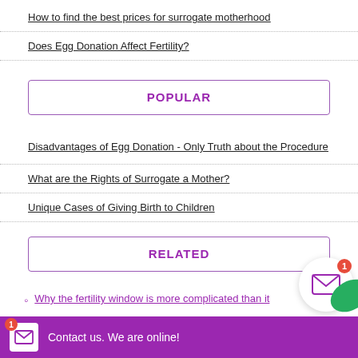How to find the best prices for surrogate motherhood
Does Egg Donation Affect Fertility?
POPULAR
Disadvantages of Egg Donation - Only Truth about the Procedure
What are the Rights of Surrogate a Mother?
Unique Cases of Giving Birth to Children
RELATED
Why the fertility window is more complicated than it
Contact us. We are online!